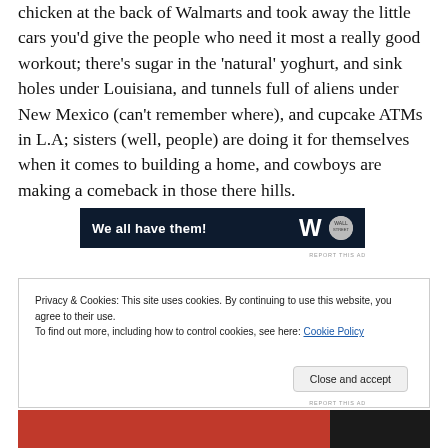chicken at the back of Walmarts and took away the little cars you'd give the people who need it most a really good workout; there's sugar in the 'natural' yoghurt, and sink holes under Louisiana, and tunnels full of aliens under New Mexico (can't remember where), and cupcake ATMs in L.A; sisters (well, people) are doing it for themselves when it comes to building a home, and cowboys are making a comeback in those there hills.
[Figure (other): Advertisement banner with dark navy background, white bold text 'We all have them!', and a logo with a large W and circular icon on the right.]
REPORT THIS AD
Privacy & Cookies: This site uses cookies. By continuing to use this website, you agree to their use.
To find out more, including how to control cookies, see here: Cookie Policy
Close and accept